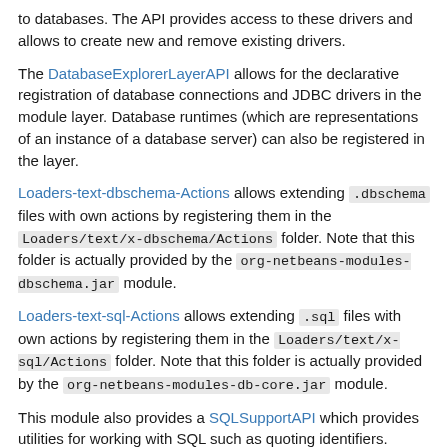to databases. The API provides access to these drivers and allows to create new and remove existing drivers.
The DatabaseExplorerLayerAPI allows for the declarative registration of database connections and JDBC drivers in the module layer. Database runtimes (which are representations of an instance of a database server) can also be registered in the layer.
Loaders-text-dbschema-Actions allows extending .dbschema files with own actions by registering them in the Loaders/text/x-dbschema/Actions folder. Note that this folder is actually provided by the org-netbeans-modules-dbschema.jar module.
Loaders-text-sql-Actions allows extending .sql files with own actions by registering them in the Loaders/text/x-sql/Actions folder. Note that this folder is actually provided by the org-netbeans-modules-db-core.jar module.
This module also provides a SQLSupportAPI which provides utilities for working with SQL such as quoting identifiers.